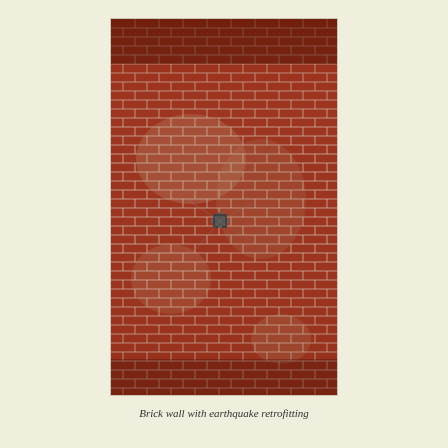[Figure (photo): Close-up photograph of a red brick wall showing earthquake retrofitting. The wall displays numerous bricks with white mortar joints, some areas show deterioration or damage, and there is a visible metal anchor bolt or plate embedded near the center of the wall, typical of seismic retrofitting work.]
Brick wall with earthquake retrofitting